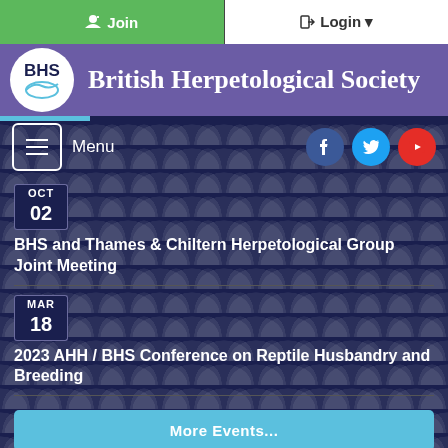Join | Login
British Herpetological Society
Menu
OCT 02
BHS and Thames & Chiltern Herpetological Group Joint Meeting
MAR 18
2023 AHH / BHS Conference on Reptile Husbandry and Breeding
More Events...